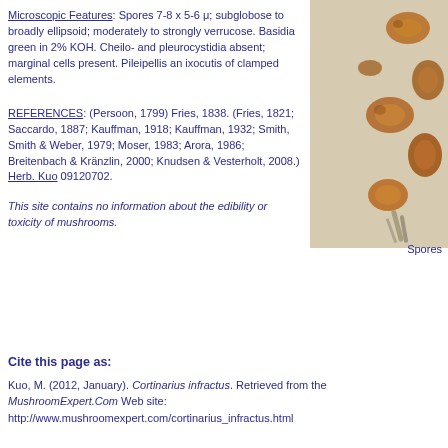Microscopic Features: Spores 7-8 x 5-6 μ; subglobose to broadly ellipsoid; moderately to strongly verrucose. Basidia green in 2% KOH. Cheilo- and pleurocystidia absent; marginal cells present. Pileipellis an ixocutis of clamped elements.
[Figure (photo): Microscopic photo of Cortinarius infractus spores, brown/orange oval spores visible on a pale background, with label 'Spores' below]
REFERENCES: (Persoon, 1799) Fries, 1838. (Fries, 1821; Saccardo, 1887; Kauffman, 1918; Kauffman, 1932; Smith, Smith & Weber, 1979; Moser, 1983; Arora, 1986; Breitenbach & Kränzlin, 2000; Knudsen & Vesterholt, 2008.) Herb. Kuo 09120702.
This site contains no information about the edibility or toxicity of mushrooms.
Cite this page as:
Kuo, M. (2012, January). Cortinarius infractus. Retrieved from the MushroomExpert.Com Web site: http://www.mushroomexpert.com/cortinarius_infractus.html